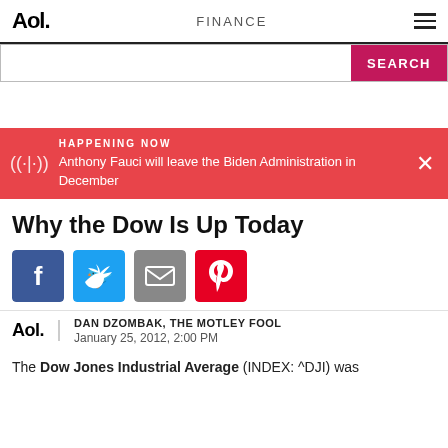Aol. | FINANCE
Why the Dow Is Up Today
DAN DZOMBAK, THE MOTLEY FOOL
January 25, 2012, 2:00 PM
The Dow Jones Industrial Average (INDEX: ^DJI) was